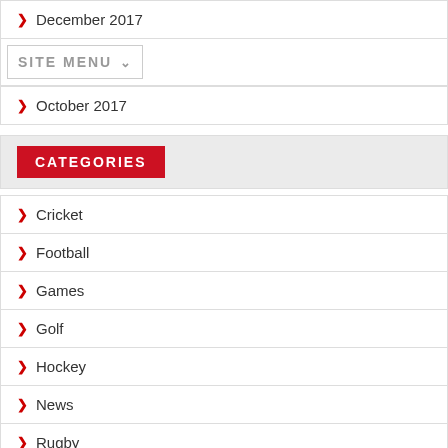December 2017
November 2017
October 2017
CATEGORIES
Cricket
Football
Games
Golf
Hockey
News
Rugby
Sports